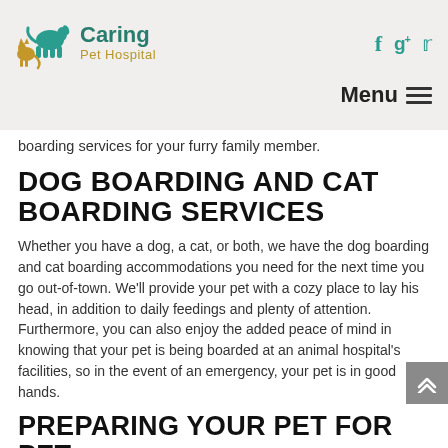Caring Pet Hospital
boarding services for your furry family member.
DOG BOARDING AND CAT BOARDING SERVICES
Whether you have a dog, a cat, or both, we have the dog boarding and cat boarding accommodations you need for the next time you go out-of-town. We'll provide your pet with a cozy place to lay his head, in addition to daily feedings and plenty of attention. Furthermore, you can also enjoy the added peace of mind in knowing that your pet is being boarded at an animal hospital's facilities, so in the event of an emergency, your pet is in good hands.
PREPARING YOUR PET FOR PET BOARDING IN HAYWARD